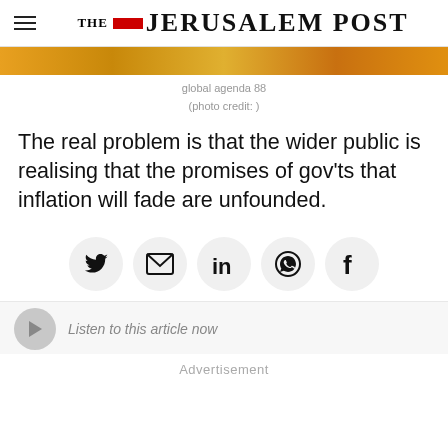THE JERUSALEM POST
[Figure (photo): Partial image strip showing warm orange/golden tones at top of article]
global agenda 88
(photo credit: )
The real problem is that the wider public is realising that the promises of gov'ts that inflation will fade are unfounded.
[Figure (infographic): Social sharing buttons: Twitter, Email, LinkedIn, WhatsApp, Facebook — each in a circular grey button]
Listen to this article now
Advertisement